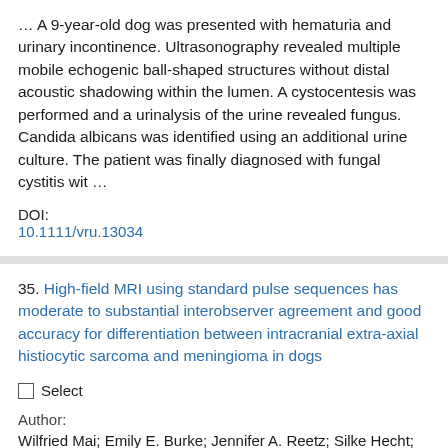… A 9-year-old dog was presented with hematuria and urinary incontinence. Ultrasonography revealed multiple mobile echogenic ball-shaped structures without distal acoustic shadowing within the lumen. A cystocentesis was performed and a urinalysis of the urine revealed fungus. Candida albicans was identified using an additional urine culture. The patient was finally diagnosed with fungal cystitis wit …
DOI:
10.1111/vru.13034
35. High-field MRI using standard pulse sequences has moderate to substantial interobserver agreement and good accuracy for differentiation between intracranial extra-axial histiocytic sarcoma and meningioma in dogs
Select
Author:
Wilfried Mai; Emily E. Burke; Jennifer A. Reetz; Silke Hecht; Matthew Paek; Molly E. Church; Stephen R. Werre;